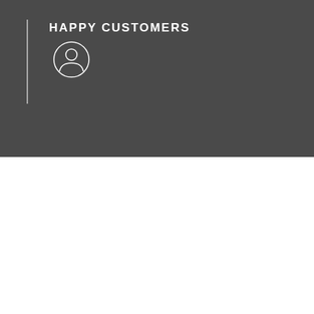HAPPY CUSTOMERS
[Figure (illustration): Person/user icon inside a circle outline, white on dark background]
AWARDS
[Figure (illustration): Trophy cup icon, white on dark background]
What Our Happy Clients say about us
OUR TESTIMONIAL
[Figure (photo): Gray placeholder photo box for testimonial]
[Figure (photo): Red sports car viewed from above, partially visible on right edge]